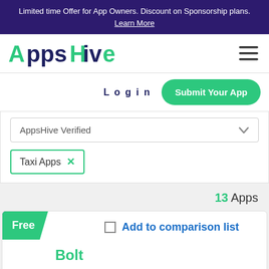Limited time Offer for App Owners. Discount on Sponsorship plans. Learn More
[Figure (logo): AppsHive logo with green stylized A icon and dark blue text]
Log in
Submit Your App
AppsHive Verified
Taxi Apps ✕
13 Apps
Free
Add to comparison list
Bolt